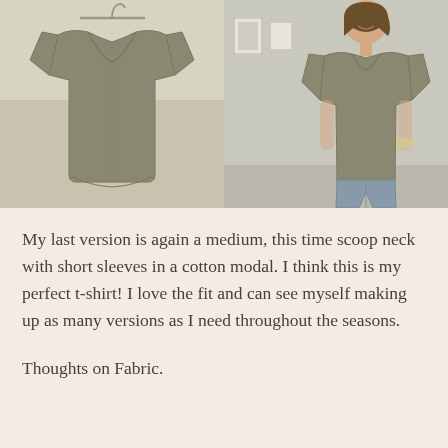[Figure (photo): Two side-by-side photos of an olive/khaki green v-neck t-shirt. Left photo shows the shirt on a hanger against a light wall. Right photo shows a woman wearing the same shirt with light blue jeans, smiling, indoors.]
My last version is again a medium, this time scoop neck with short sleeves in a cotton modal. I think this is my perfect t-shirt! I love the fit and can see myself making up as many versions as I need throughout the seasons.
Thoughts on Fabric.